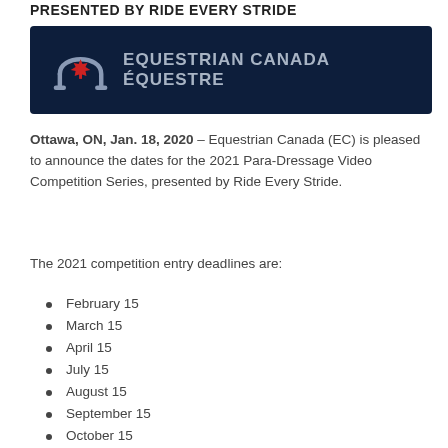PRESENTED BY RIDE EVERY STRIDE
[Figure (logo): Equestrian Canada Équestre logo on dark navy background with horseshoe and maple leaf icon]
Ottawa, ON, Jan. 18, 2020 – Equestrian Canada (EC) is pleased to announce the dates for the 2021 Para-Dressage Video Competition Series, presented by Ride Every Stride.
The 2021 competition entry deadlines are:
February 15
March 15
April 15
July 15
August 15
September 15
October 15